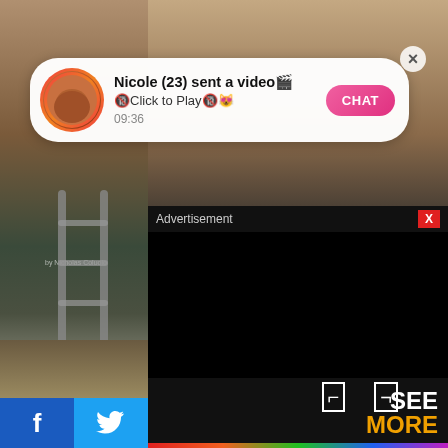[Figure (screenshot): Screenshot of a mobile app/website showing a notification popup overlay on top of a photo. The notification reads 'Nicole (23) sent a video' with a pink CHAT button. Below is a black advertisement overlay with 'Advertisement' label and red X close button. Bottom has Facebook and Twitter share buttons, and a SEE MORE panel.]
Nicole (23) sent a video🎬
🔞Click to Play🔞😻
09:36
CHAT
Advertisement
X
SEE
MORE